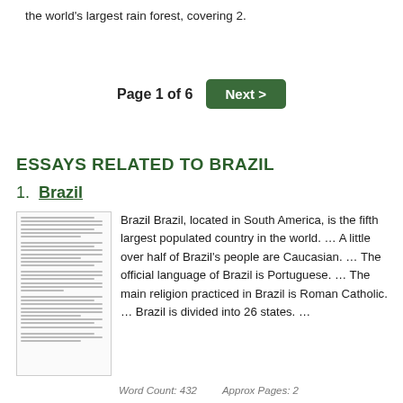the world's largest rain forest, covering 2.
Page 1 of 6   Next >
ESSAYS RELATED TO BRAZIL
1.  Brazil
[Figure (other): Thumbnail image of essay text about Brazil]
Brazil Brazil, located in South America, is the fifth largest populated country in the world. … A little over half of Brazil's people are Caucasian. … The official language of Brazil is Portuguese. … The main religion practiced in Brazil is Roman Catholic. … Brazil is divided into 26 states. …
Word Count: 432    Approx Pages: 2